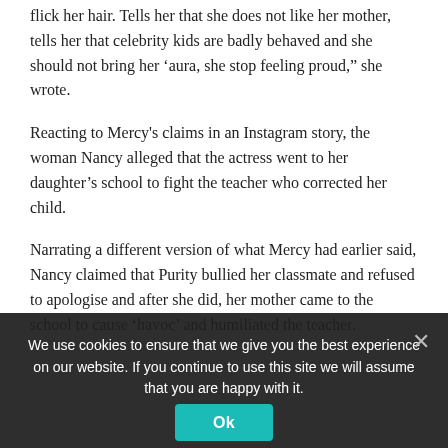flick her hair. Tells her that she does not like her mother, tells her that celebrity kids are badly behaved and she should not bring her ‘aura, she stop feeling proud,” she wrote.
Reacting to Mercy's claims in an Instagram story, the woman Nancy alleged that the actress went to her daughter’s school to fight the teacher who corrected her child.
Narrating a different version of what Mercy had earlier said, Nancy claimed that Purity bullied her classmate and refused to apologise and after she did, her mother came to the school to cause ‘havoc’ and humiliated the teacher.
We use cookies to ensure that we give you the best experience on our website. If you continue to use this site we will assume that you are happy with it.